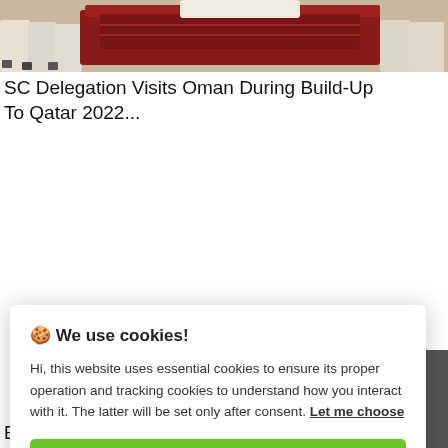[Figure (photo): Photo showing a group of people in traditional Omani dress near what appears to be a ceremonial display with a red-draped item]
SC Delegation Visits Oman During Build-Up To Qatar 2022...
🍪 We use cookies!
Hi, this website uses essential cookies to ensure its proper operation and tracking cookies to understand how you interact with it. The latter will be set only after consent. Let me choose
Accept all
Reject all
Bagnaia Makes It Three In A Row As Quartararo